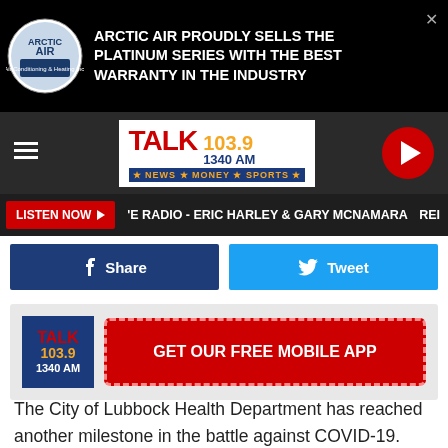[Figure (screenshot): Arctic Air advertisement banner with logo and text 'ARCTIC AIR PROUDLY SELLS THE PLATINUM SERIES WITH THE BEST WARRANTY IN THE INDUSTRY' on dark background]
[Figure (logo): Talk 103.9 / 1340 AM radio station navigation bar with hamburger menu and play button]
LISTEN NOW ▶  'E RADIO - ERIC HARLEY & GARY MCNAMARA    REI
[Figure (screenshot): Facebook Share and Twitter Tweet social sharing buttons]
[Figure (screenshot): Talk 103.9 1340 AM logo with GET OUR FREE MOBILE APP red button]
The City of Lubbock Health Department has reached another milestone in the battle against COVID-19. Friday afternoon, the health department announced it has administered COVID-19 doses to over 20,000 people in Lubbock County. Over 10 percent of those who have received a COVID-19 vaccine have